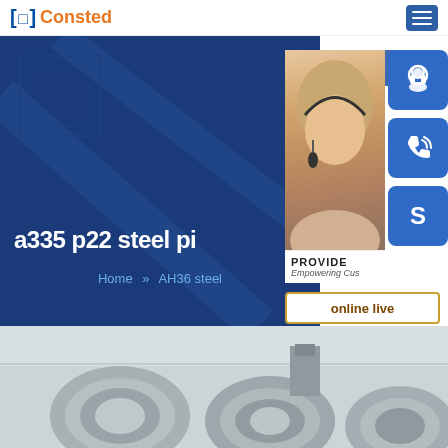Consted
[Figure (screenshot): Website screenshot showing Consted logo in header, a blue hero banner with title 'a335 p22 steel pi...' and breadcrumb 'Home >> AH36 steel', a 24/7 contact widget with agent photo and icon buttons (headset, phone, Skype), PROVIDE / Empowering Customers text, online live button, and a steel pipes photo at bottom.]